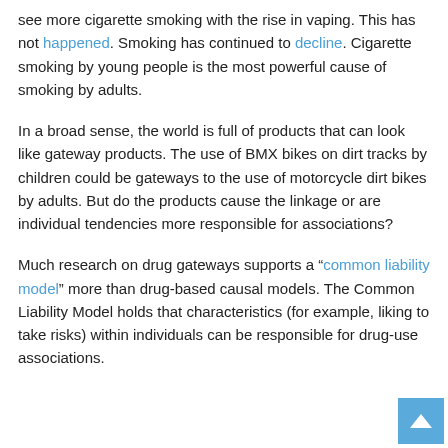see more cigarette smoking with the rise in vaping. This has not happened. Smoking has continued to decline. Cigarette smoking by young people is the most powerful cause of smoking by adults.
In a broad sense, the world is full of products that can look like gateway products. The use of BMX bikes on dirt tracks by children could be gateways to the use of motorcycle dirt bikes by adults. But do the products cause the linkage or are individual tendencies more responsible for associations?
Much research on drug gateways supports a “common liability model” more than drug-based causal models. The Common Liability Model holds that characteristics (for example, liking to take risks) within individuals can be responsible for drug-use associations.